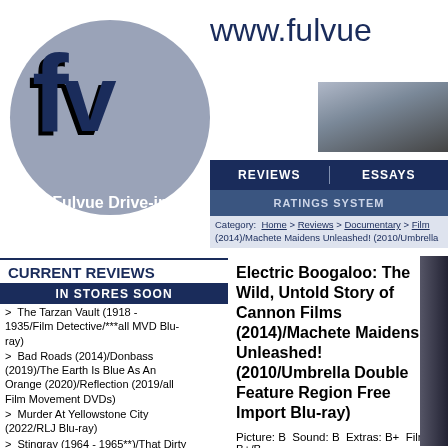[Figure (logo): Fulvue Drive-in logo: circular grey badge with dark blue 3D FV letters and white text 'Fulvue Drive-in']
www.fulvue
REVIEWS   ESSAYS   RATINGS SYSTEM
Category: Home > Reviews > Documentary > Film... (2014)/Machete Maidens Unleashed! (2010/Umbrella...
CURRENT REVIEWS
IN STORES SOON
> The Tarzan Vault (1918 - 1935/Film Detective/***all MVD Blu-ray)
> Bad Roads (2014)/Donbass (2019)/The Earth Is Blue As An Orange (2020)/Reflection (2019/all Film Movement DVDs)
> Murder At Yellowstone City (2022/RLJ Blu-ray)
> Stingray (1964 - 1965**)/That Dirty Black Bag: Season 1 (2022/AMC/RLJ Blu-ray)/Wanted: Dead Or Alive (1958 - 1961/**both Via Vision PAL Region Free Import DVD Complete Series sets)
> Batwoman: The Complete Third &
Electric Boogaloo: The Wild, Untold Story of Cannon Films (2014)/Machete Maidens Unleashed! (2010/Umbrella Double Feature Region Free Import Blu-ray)
Picture: B Sound: B Extras: B+ Films: B+/B